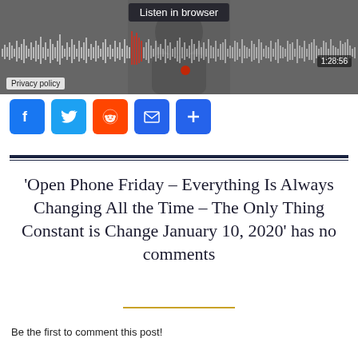[Figure (screenshot): Audio player with waveform, 'Listen in browser' button, timer showing 1:28:56, and Privacy policy label]
[Figure (infographic): Social sharing icons: Facebook, Twitter, Reddit, Email, Share (plus)]
'Open Phone Friday – Everything Is Always Changing All the Time – The Only Thing Constant is Change January 10, 2020' has no comments
Be the first to comment this post!